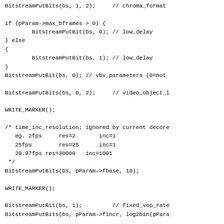BitstreamPutBits(bs, 1, 2);     // chroma_format

if (pParam->max_bframes > 0) {
        BitstreamPutBit(bs, 0); // low_delay
} else
{
        BitstreamPutBit(bs, 1); // low_delay
}
BitstreamPutBit(bs, 0); // vbv_parameters (0=not

BitstreamPutBits(bs, 0, 2);     // video_object_l

WRITE_MARKER();

/* time_inc_resolution; ignored by current decor
   eg. 2fps     res=2       inc=1
   25fps        res=25      inc=1
   29.97fps res=30000   inc=1001
 */
BitstreamPutBits(bs, pParam->fbase, 16);

WRITE_MARKER();

BitstreamPutBit(bs, 1);         // fixed_vop_rate
BitstreamPutBits(bs, pParam->fincr, log2bin(pPara

WRITE_MARKER();
BitstreamPutBits(bs, pParam->width, 13);     M
WRITE_MARKER();
BitstreamPutBits(bs, pParam->height, 13);